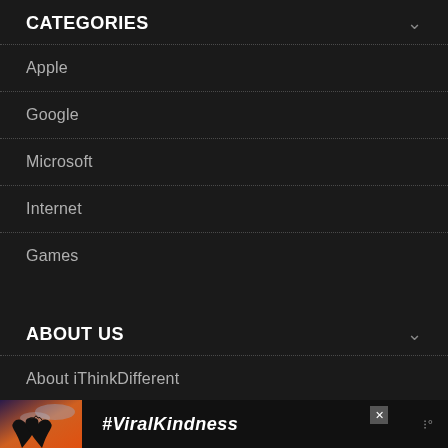CATEGORIES
Apple
Google
Microsoft
Internet
Games
ABOUT US
About iThinkDifferent
Contact
Privacy Policy
[Figure (infographic): Advertisement banner showing hands forming a heart shape against a sunset sky background, with text #ViralKindness and a logo on the right with a close button]